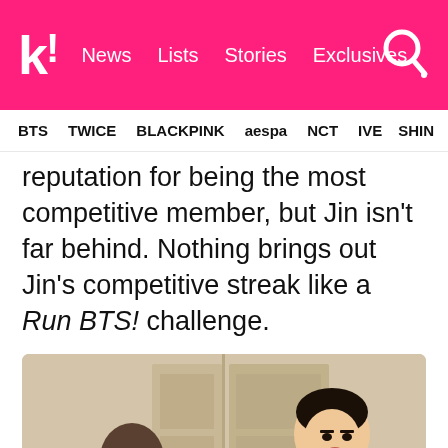k! News Lists Stories Exclusives
BTS TWICE BLACKPINK aespa NCT IVE SHIN
reputation for being the most competitive member, but Jin isn't far behind. Nothing brings out Jin's competitive streak like a Run BTS! challenge.
[Figure (screenshot): Video still from Run BTS! showing two members, one in white sweater reacting dramatically, with Korean subtitles and English translation: [Was happy he was with RM] - He knows the answer but won't say anything. - Okay, let's go to the next one.]